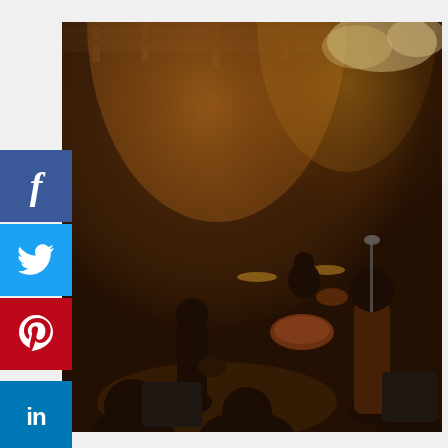[Figure (photo): Concert/live music venue photo with warm orange stage lighting, band performing on stage with drummer, guitarist, and vocalist visible, audience silhouettes in foreground, industrial ceiling with metal trusses]
[Figure (infographic): Social media sharing sidebar with buttons: Facebook (blue), Twitter (light blue), Pinterest (red), LinkedIn (blue), Tumblr (dark blue)]
[Figure (infographic): Infolinks advertisement banner: 'Swim, apparel and accessories fit for' with 'SHOP WOMEN'S SWIM' and 'www.landsend.com', featuring a woman in a swimsuit on a paddle board, and a circular CTA button]